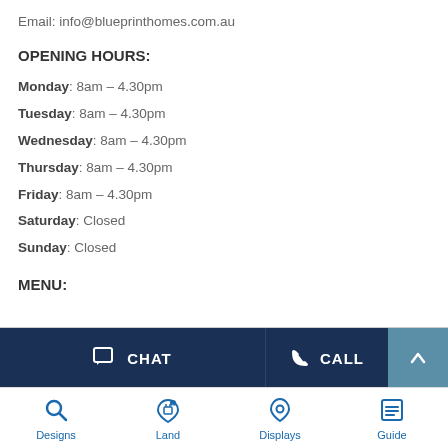Email: info@blueprinthomes.com.au
OPENING HOURS:
Monday: 8am – 4.30pm
Tuesday: 8am – 4.30pm
Wednesday: 8am – 4.30pm
Thursday: 8am – 4.30pm
Friday: 8am – 4.30pm
Saturday: Closed
Sunday: Closed
MENU:
CHAT | CALL | Designs | Land | Displays | Guide